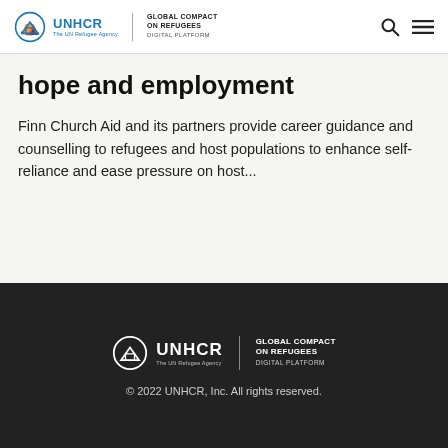UNHCR | GLOBAL COMPACT ON REFUGEES DIGITAL PLATFORM
hope and employment
Finn Church Aid and its partners provide career guidance and counselling to refugees and host populations to enhance self-reliance and ease pressure on host...
UNHCR | GLOBAL COMPACT ON REFUGEES DIGITAL PLATFORM | © 2022 UNHCR, Inc. All rights reserved.